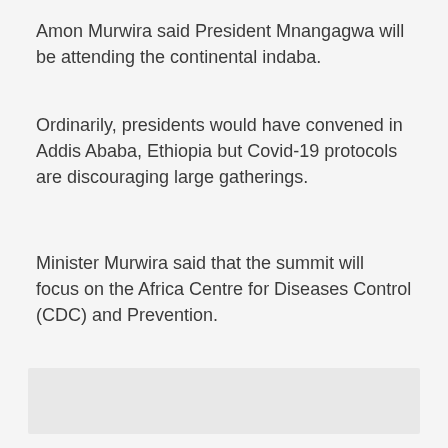Amon Murwira said President Mnangagwa will be attending the continental indaba.
Ordinarily, presidents would have convened in Addis Ababa, Ethiopia but Covid-19 protocols are discouraging large gatherings.
Minister Murwira said that the summit will focus on the Africa Centre for Diseases Control (CDC) and Prevention.
[Figure (other): Grey placeholder image block at bottom of page]